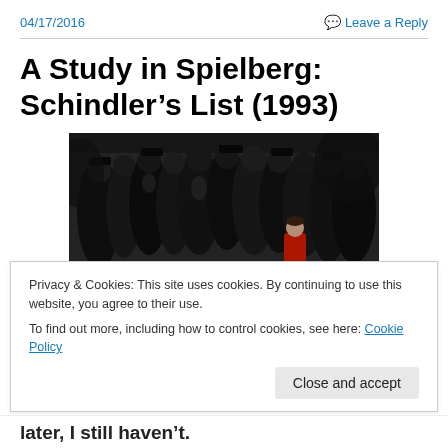04/17/2016   Leave a Reply
A Study in Spielberg: Schindler’s List (1993)
[Figure (photo): Black and white photograph from Schindler's List showing a crowd of people with soldiers, featuring a child in a red coat (colorized) in the foreground.]
Privacy & Cookies: This site uses cookies. By continuing to use this website, you agree to their use.
To find out more, including how to control cookies, see here: Cookie Policy
later, I still haven’t.